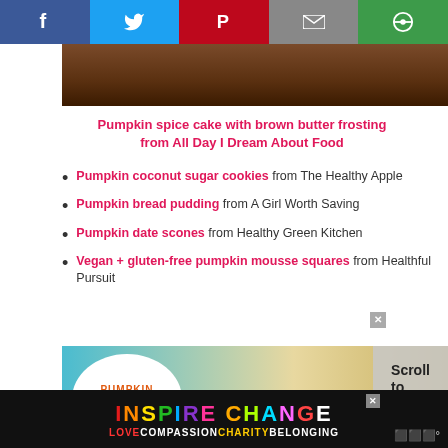[Figure (screenshot): Social sharing buttons bar: Facebook (blue), Twitter (light blue), Pinterest (red), Email (gray), other (green)]
[Figure (photo): Top portion of a pumpkin spice cake with brown butter frosting photo, dark brown background]
Pumpkin spice cake with brown butter frosting from All Day I Dream About Food
Pumpkin coconut sugar cookies from The Healthy Apple
Pumpkin bread pudding from A Girl Worth Saving
Pumpkin date scones from Healthy Green Kitchen
Vegan + gluten-free pumpkin mousse squares from Healthful Pursuit
[Figure (photo): Pumpkin streusel bread photo with circular white label overlay showing 'PUMPKIN **streusel** BREAD' in orange text, and a 'Scroll to top' button on the right]
[Figure (screenshot): Inspire Change advertisement banner with rainbow-colored text and 'LOVE COMPASSION CHARITY BELONGING' tagline]